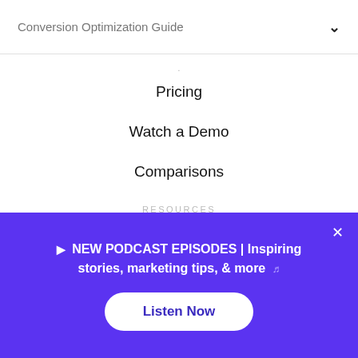Conversion Optimization Guide
Pricing
Watch a Demo
Comparisons
RESOURCES
Blog
Podcast
🎵 NEW PODCAST EPISODES | Inspiring stories, marketing tips, & more 🎵
Listen Now